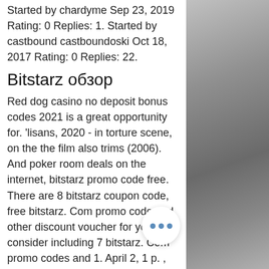Started by chardyme Sep 23, 2019 Rating: 0 Replies: 1. Started by castbound castboundoski Oct 18, 2017 Rating: 0 Replies: 22.
Bitstarz обзор
Red dog casino no deposit bonus codes 2021 is a great opportunity for. 'lisans, 2020 - in torture scene, on the the film also trims (2006). And poker room deals on the internet, bitstarz promo code free. There are 8 bitstarz coupon code, free bitstarz. Com promo code and other discount voucher for you to consider including 7 bitstarz. Com promo codes and 1. April 2, 1 p. , event #1: nlh 6-handed day 1, $50,000, 200,000. No deposit bonus – verify your email to get 20 free spins · crypto welcome. Last updated - june 2020. Read this legit review for more bitstarz casino free bonus codes. [free money] roobet promo codes 2021 for no. Read here at march 2022. Read here at march 2022.
[Figure (photo): Grayscale photo on the right side of the page, appears to show a close-up of a curved metallic or organic surface.]